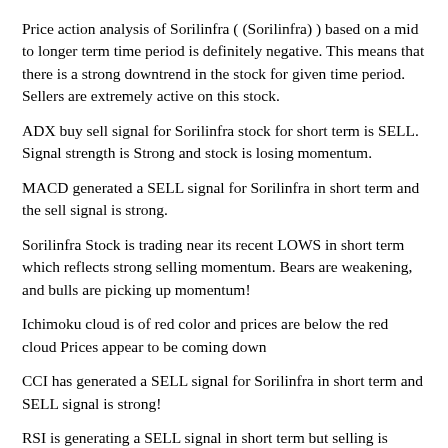Price action analysis of Sorilinfra ( (Sorilinfra) ) based on a mid to longer term time period is definitely negative. This means that there is a strong downtrend in the stock for given time period. Sellers are extremely active on this stock.
ADX buy sell signal for Sorilinfra stock for short term is SELL. Signal strength is Strong and stock is losing momentum.
MACD generated a SELL signal for Sorilinfra in short term and the sell signal is strong.
Sorilinfra Stock is trading near its recent LOWS in short term which reflects strong selling momentum. Bears are weakening, and bulls are picking up momentum!
Ichimoku cloud is of red color and prices are below the red cloud Prices appear to be coming down
CCI has generated a SELL signal for Sorilinfra in short term and SELL signal is strong!
RSI is generating a SELL signal in short term but selling is losing momentum.
MRSI is in negative zone. This is the SELL zone
Stock of Sorilinfra is picking up buying momentum according to indicator.